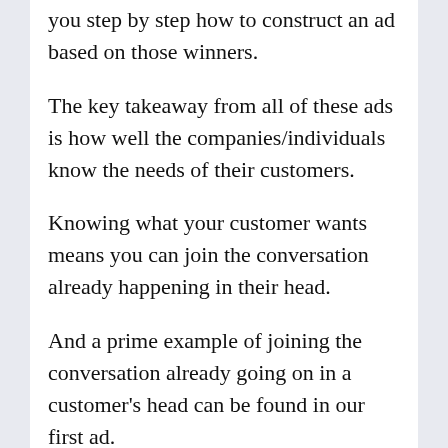you step by step how to construct an ad based on those winners.
The key takeaway from all of these ads is how well the companies/individuals know the needs of their customers.
Knowing what your customer wants means you can join the conversation already happening in their head.
And a prime example of joining the conversation already going on in a customer's head can be found in our first ad.
#1 FRESH BOOKS – THE